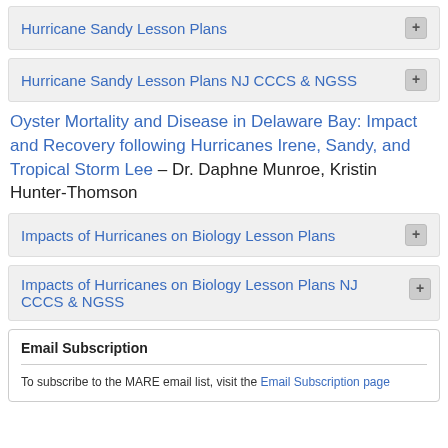Hurricane Sandy Lesson Plans
Hurricane Sandy Lesson Plans NJ CCCS & NGSS
Oyster Mortality and Disease in Delaware Bay: Impact and Recovery following Hurricanes Irene, Sandy, and Tropical Storm Lee – Dr. Daphne Munroe, Kristin Hunter-Thomson
Impacts of Hurricanes on Biology Lesson Plans
Impacts of Hurricanes on Biology Lesson Plans NJ CCCS & NGSS
Email Subscription
To subscribe to the MARE email list, visit the Email Subscription page